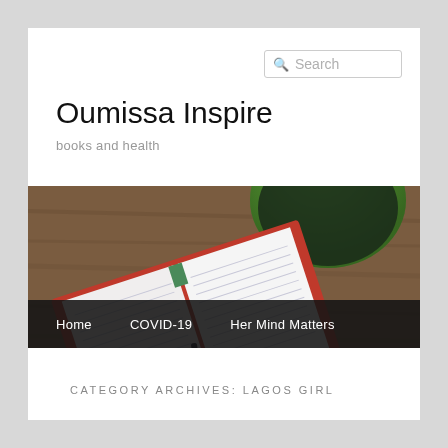[Figure (screenshot): Search box with magnifying glass icon and 'Search' placeholder text]
Oumissa Inspire
books and health
[Figure (photo): Overhead photo of a red-covered notebook with lined pages and a pen, alongside a green mug on a wooden table]
Home   COVID-19   Her Mind Matters
CATEGORY ARCHIVES: LAGOS GIRL